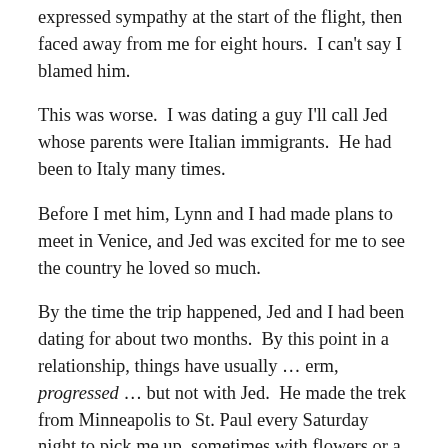expressed sympathy at the start of the flight, then faced away from me for eight hours.  I can't say I blamed him.
This was worse.  I was dating a guy I'll call Jed whose parents were Italian immigrants.  He had been to Italy many times.
Before I met him, Lynn and I had made plans to meet in Venice, and Jed was excited for me to see the country he loved so much.
By the time the trip happened, Jed and I had been dating for about two months.  By this point in a relationship, things have usually … erm, progressed … but not with Jed.  He made the trek from Minneapolis to St. Paul every Saturday night to pick me up, sometimes with flowers or a nice bottle of wine, Italian of course.  We would go out to